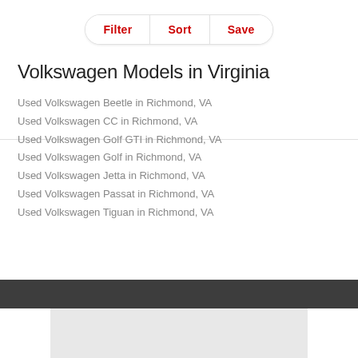[Figure (screenshot): Navigation bar with Filter, Sort, and Save buttons in a pill-shaped container with red bold text]
Volkswagen Models in Virginia
Used Volkswagen Beetle in Richmond, VA
Used Volkswagen CC in Richmond, VA
Used Volkswagen Golf GTI in Richmond, VA
Used Volkswagen Golf in Richmond, VA
Used Volkswagen Jetta in Richmond, VA
Used Volkswagen Passat in Richmond, VA
Used Volkswagen Tiguan in Richmond, VA